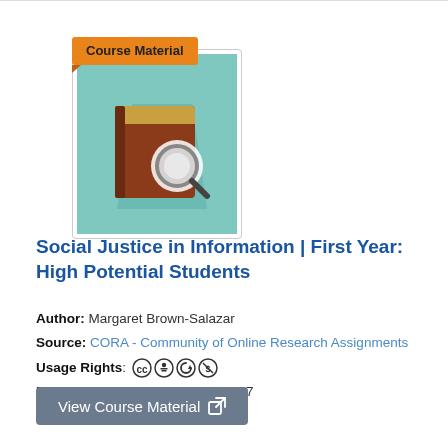[Figure (illustration): Course Material badge (orange) over a thumbnail card showing a brown book with a magnifying glass icon on a teal background]
Social Justice in Information | First Year: High Potential Students
Author: Margaret Brown-Salazar
Source: CORA - Community of Online Research Assignments
Usage Rights: [CC BY-NC-SA icons]
Publication Date: January 26, 2017
View Course Material